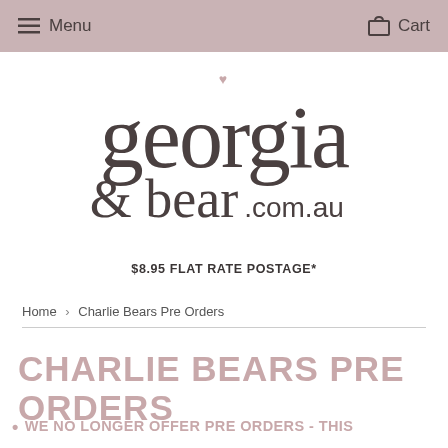Menu  Cart
[Figure (logo): Georgia & bear .com.au logo with a small pink heart above the letter i]
$8.95 FLAT RATE POSTAGE*
Home › Charlie Bears Pre Orders
CHARLIE BEARS PRE ORDERS
WE NO LONGER OFFER PRE ORDERS - THIS